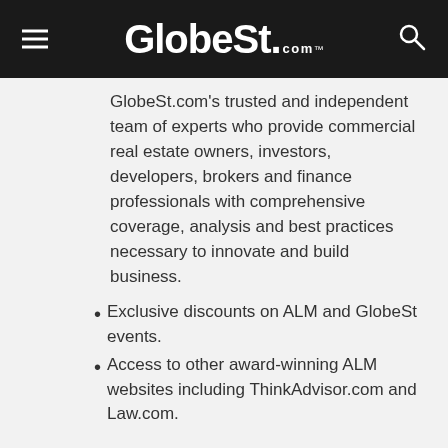GlobeSt.com
GlobeSt.com's trusted and independent team of experts who provide commercial real estate owners, investors, developers, brokers and finance professionals with comprehensive coverage, analysis and best practices necessary to innovate and build business.
Exclusive discounts on ALM and GlobeSt events.
Access to other award-winning ALM websites including ThinkAdvisor.com and Law.com.
Join GlobeSt.com
Already have an account? Sign In Now